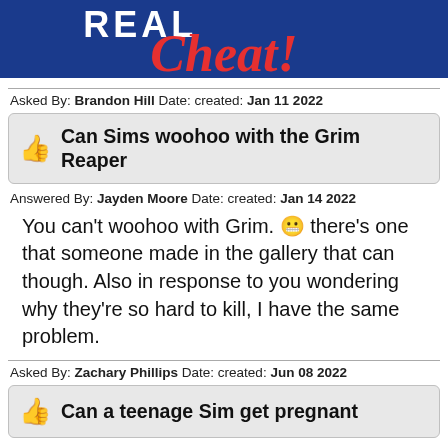[Figure (illustration): Website header banner with dark blue background showing partial white bold uppercase text 'REAL...' and large red cursive/script word 'Cheat!' overlaid on the banner]
Asked By: Brandon Hill Date: created: Jan 11 2022
Can Sims woohoo with the Grim Reaper
Answered By: Jayden Moore Date: created: Jan 14 2022
You can’t woohoo with Grim. 😬 there’s one that someone made in the gallery that can though. Also in response to you wondering why they’re so hard to kill, I have the same problem.
Asked By: Zachary Phillips Date: created: Jun 08 2022
Can a teenage Sim get pregnant